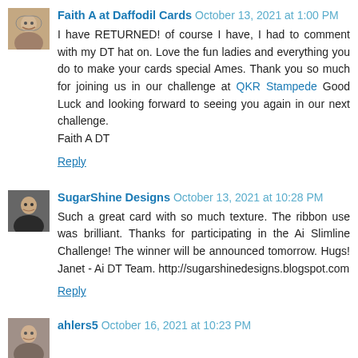[Figure (photo): Avatar photo of Faith A at Daffodil Cards, woman with glasses]
Faith A at Daffodil Cards October 13, 2021 at 1:00 PM
I have RETURNED! of course I have, I had to comment with my DT hat on. Love the fun ladies and everything you do to make your cards special Ames. Thank you so much for joining us in our challenge at QKR Stampede Good Luck and looking forward to seeing you again in our next challenge.
Faith A DT
Reply
[Figure (photo): Avatar photo of SugarShine Designs, woman with dark jacket]
SugarShine Designs October 13, 2021 at 10:28 PM
Such a great card with so much texture. The ribbon use was brilliant. Thanks for participating in the Ai Slimline Challenge! The winner will be announced tomorrow. Hugs! Janet - Ai DT Team. http://sugarshinedesigns.blogspot.com
Reply
[Figure (photo): Avatar photo of ahlers5, woman]
ahlers5 October 16, 2021 at 10:23 PM